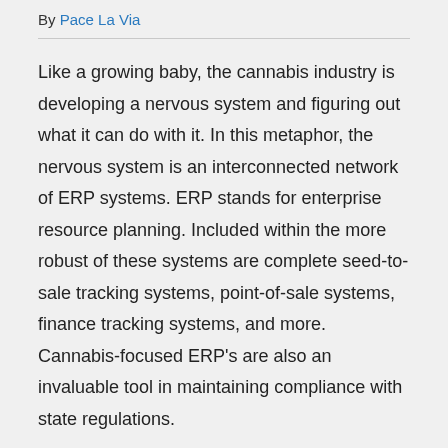By Pace La Via
Like a growing baby, the cannabis industry is developing a nervous system and figuring out what it can do with it. In this metaphor, the nervous system is an interconnected network of ERP systems. ERP stands for enterprise resource planning. Included within the more robust of these systems are complete seed-to-sale tracking systems, point-of-sale systems, finance tracking systems, and more. Cannabis-focused ERP's are also an invaluable tool in maintaining compliance with state regulations.
Justin Dufour is the brainchild of one such system known as Viridian Sciences, a cannabis seed-to-sale solution and POS built on the global ERP giant, SAP.
Viridian Sciences is the nervous system at the center of cannabis companies small and large including, Be Kind